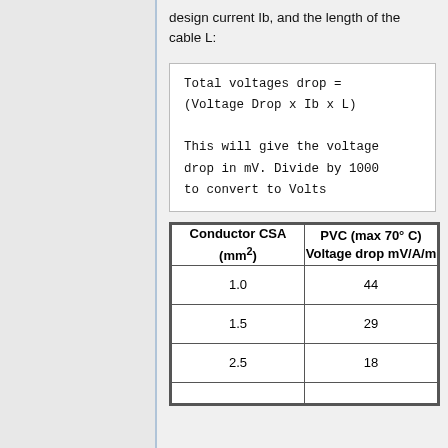design current Ib, and the length of the cable L:
| Conductor CSA (mm²) | PVC (max 70° C) Voltage drop mV/A/m |
| --- | --- |
| 1.0 | 44 |
| 1.5 | 29 |
| 2.5 | 18 |